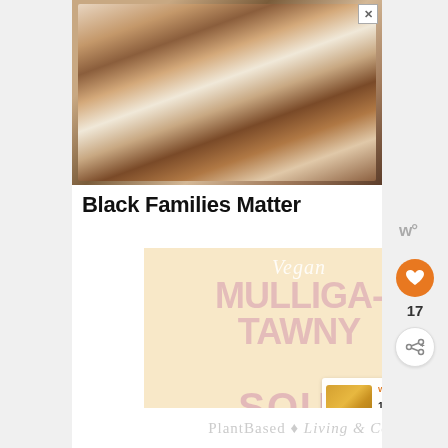[Figure (photo): Advertisement showing a family of four (two adults and two children) lying on a bed looking up at the camera, smiling. A close X button is in the top right corner.]
Black Families Matter
[Figure (illustration): Food blog card with peach/cream background. Text reads 'Vegan MULLIGATAWNY SOUP' in stylized lettering — 'Vegan' in white italic script, 'MULLIGATAWNY SOUP' in large pink block letters.]
[Figure (photo): Thumbnail image of a dish, appears to be a golden/yellow soup or drink, for the 'What's Next' recommendation panel showing '15 Plant-Based...']
WHAT'S NEXT → 15 Plant-Based...
PlantBased...